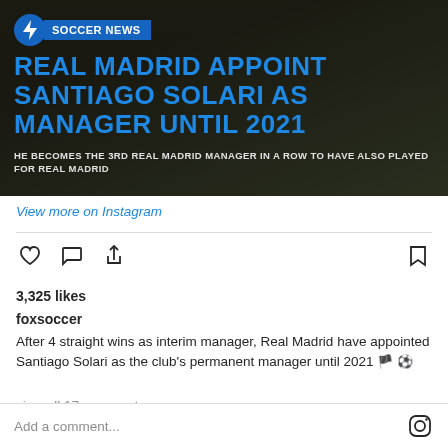[Figure (screenshot): Soccer news graphic: dark background with a person in dark clothing. Blue lightning bolt icon with 'SOCCER NEWS' label. Large blue headline text reads 'REAL MADRID APPOINT SANTIAGO SOLARI AS MANAGER UNTIL 2021'. Subtitle in white uppercase: 'HE BECOMES THE 3RD REAL MADRID MANAGER IN A ROW TO HAVE ALSO PLAYED FOR REAL MADRID']
View more on Instagram
3,325 likes
foxsoccer
After 4 straight wins as interim manager, Real Madrid have appointed Santiago Solari as the club's permanent manager until 2021 🏴‍☠️⚽
view all 17 comments
Add a comment...